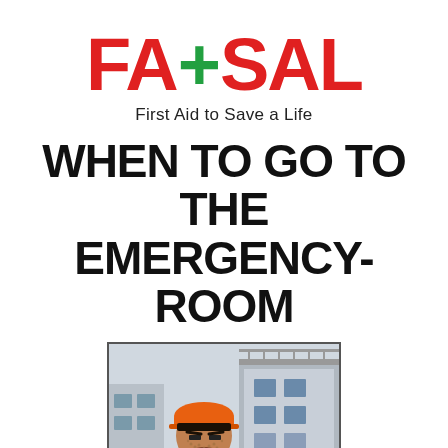[Figure (logo): FATSAL logo with red text 'FA' and 'SAL' and a green plus/cross symbol between them, subtitle reads 'First Aid to Save a Life']
When to go to the Emergency-Room
[Figure (illustration): Cartoon illustration of a construction worker wearing an orange hard hat and blue overalls, looking down at a large metal spike or rod that has impaled through his hand, with blood dripping. Background shows a construction site with buildings.]